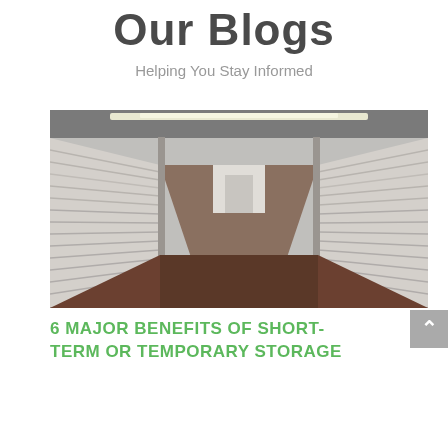Our Blogs
Helping You Stay Informed
[Figure (photo): Interior hallway of a self-storage facility with white roll-up metal doors on both sides, fluorescent ceiling lights, and a dark concrete floor receding into the distance.]
6 MAJOR BENEFITS OF SHORT-TERM OR TEMPORARY STORAGE